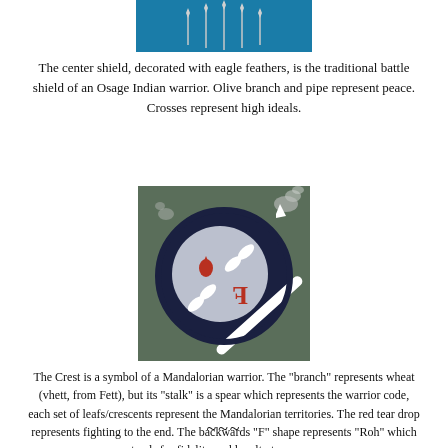[Figure (illustration): Partial view of a decorated shield with eagle feathers on a blue background (top portion cropped)]
The center shield, decorated with eagle feathers, is the traditional battle shield of an Osage Indian warrior. Olive branch and pipe represent peace. Crosses represent high ideals.
[Figure (illustration): A circular emblem on a dark green background showing a Mandalorian crest: a wheat/spear branch crossing a dark circle, with a red teardrop and a backwards F shape (Roh symbol), with smoke wisps in corners]
The Crest is a symbol of a Mandalorian warrior. The "branch" represents wheat (vhett, from Fett), but its "stalk" is a spear which represents the warrior code, each set of leafs/crescents represent the Mandalorian territories. The red tear drop represents fighting to the end. The backwards "F" shape represents "Roh" which stands for fidelity and loyalty to a cause.
~~~